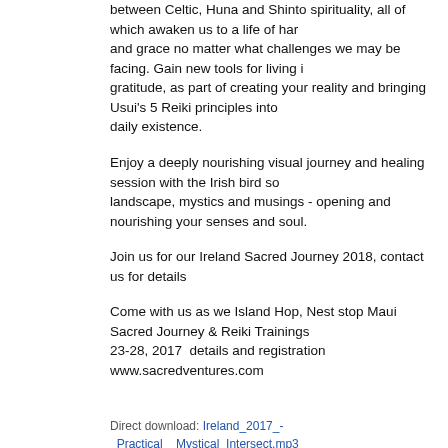between Celtic, Huna and Shinto spirituality, all of which awaken us to a life of harmony and grace no matter what challenges we may be facing. Gain new tools for living in gratitude, as part of creating your reality and bringing Usui's 5 Reiki principles into your daily existence.
Enjoy a deeply nourishing visual journey and healing session with the Irish bird song landscape, mystics and musings - opening and nourishing your senses and soul.
Join us for our Ireland Sacred Journey 2018, contact us for details
Come with us as we Island Hop, Nest stop Maui Sacred Journey & Reiki Trainings 23-28, 2017  details and registration www.sacredventures.com
Direct download: Ireland_2017_-_Practical__Mystical_Intersect.mp3
Category:general -- posted at: 8:32am PDT
Thu, 1 June 2017
Mt Kurama 2017
Journey with me to Kyoto Japan immersing you in the mystical land of Mt Kurama and Mt Koya, surrounded by gardens, ancient cedar trees and soothing bird songs.
Experience the many wonders of our Japan Sacred Journey 2017 as I share with you the gifts of our journey.  Strengthen your Reiki practice as we explore the deeper connection of Usui's Reiki symbols and their embodied essence.
Enjoy a nourishing Reiki and meditation soak connecting with Usui's simple yet powerful cleansing breath practice